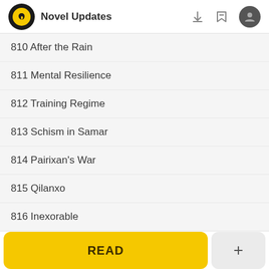Novel Updates
810 After the Rain
811 Mental Resilience
812 Training Regime
813 Schism in Samar
814 Pairixan's War
815 Qilanxo
816 Inexorable
817 (partial, cut off)
READ
+